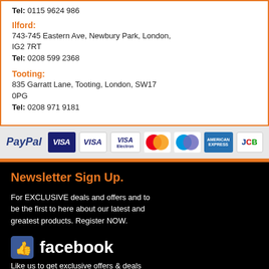Tel: 0115 9624 986
Ilford:
743-745 Eastern Ave, Newbury Park, London, IG2 7RT
Tel: 0208 599 2368
Tooting:
835 Garratt Lane, Tooting, London, SW17 0PG
Tel: 0208 971 9181
[Figure (infographic): Payment method logos: PayPal, VISA, VISA, VISA Electron, MasterCard, Maestro, American Express, JCB]
Newsletter Sign Up.
For EXCLUSIVE deals and offers and to be the first to here about our latest and greatest products. Register NOW.
[Figure (logo): Facebook logo with thumbs up icon and text: Like us to get exclusive offers & deals]